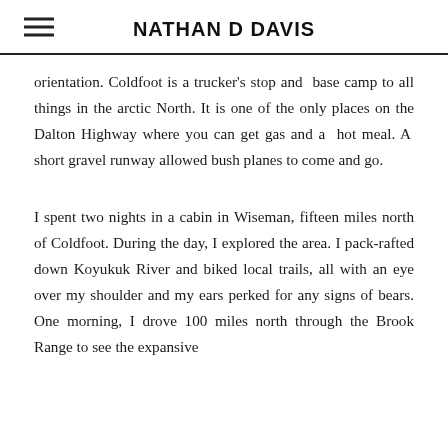NATHAN D DAVIS
orientation. Coldfoot is a trucker's stop and base camp to all things in the arctic North. It is one of the only places on the Dalton Highway where you can get gas and a hot meal. A short gravel runway allowed bush planes to come and go.
I spent two nights in a cabin in Wiseman, fifteen miles north of Coldfoot. During the day, I explored the area. I pack-rafted down Koyukuk River and biked local trails, all with an eye over my shoulder and my ears perked for any signs of bears. One morning, I drove 100 miles north through the Brook Range to see the expansive